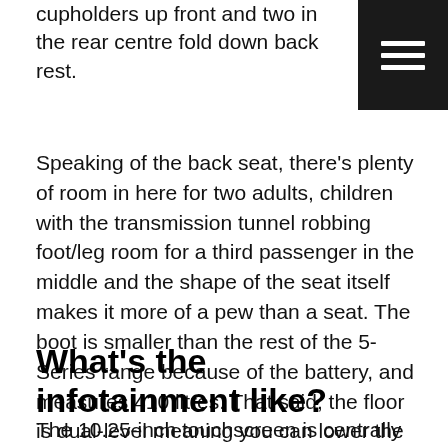cupholders up front and two in the rear centre fold down back rest.
[Figure (other): Hamburger menu button icon — three white horizontal lines on a black square background]
Speaking of the back seat, there's plenty of room in here for two adults, children with the transmission tunnel robbing foot/leg room for a third passenger in the middle and the shape of the seat itself makes it more of a pew than a seat. The boot is smaller than the rest of the 5-Series range because of the battery, and measures 410 litres. That said, the floor is dual-level meaning you can lower the floor to create a depression in the boot and keep your bags from sliding around.
What's the infotainment like?
The 10.25-inch touchscreen is centrally mounted